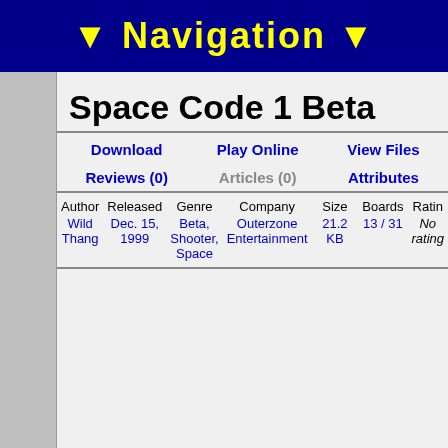▼ Navigation ▼
Space Code 1 Beta
Download | Play Online | View Files | Reviews (0) | Articles (0) | Attributes
| Author | Released | Genre | Company | Size | Boards | Rating |
| --- | --- | --- | --- | --- | --- | --- |
| Wild Thang | Dec. 15, 1999 | Beta, Shooter, Space | Outerzone Entertainment | 21.2 KB | 13 / 31 | No rating |